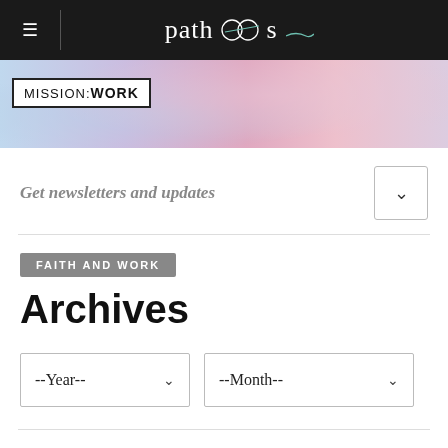patheos
[Figure (illustration): Mission:Work banner with colorful watercolor world map background]
Get newsletters and updates
FAITH AND WORK
Archives
--Year--  --Month--